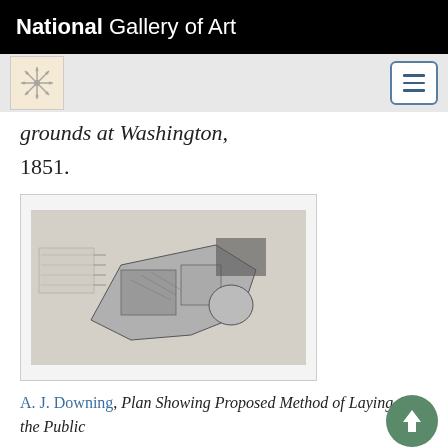National Gallery of Art
grounds at Washington, 1851.
[Figure (photo): Architectural plan drawing showing proposed layout of public grounds, black and white, bird's eye view]
A. J. Downing, Plan Showing Proposed Method of Laying Out the Public